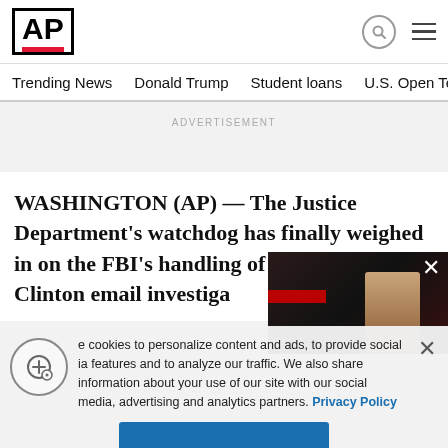[Figure (logo): AP (Associated Press) logo — bold AP text in black box with red underline bar]
Trending News   Donald Trump   Student loans   U.S. Open Tenn
ADVERTISEMENT
WASHINGTON (AP) — The Justice Department's watchdog has finally weighed in on the FBI's handling of the Hillary Clinton email investiga…
[Figure (photo): Floating video thumbnail showing a figure in a suit against a dark red/dark background with a red bar overlay and an X close button]
e cookies to personalize content and ads, to provide social ia features and to analyze our traffic. We also share information about your use of our site with our social media, advertising and analytics partners. Privacy Policy